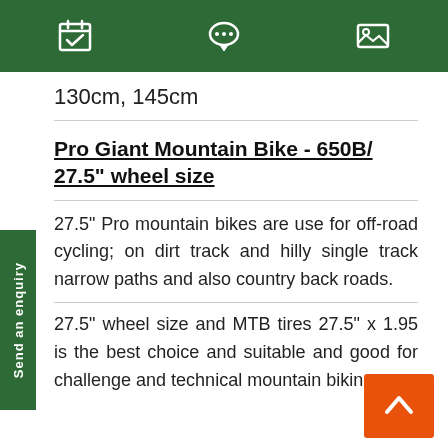Navigation bar with calendar, chat, and image icons
130cm, 145cm
Pro Giant Mountain Bike - 650B/ 27.5" wheel size
27.5" Pro mountain bikes are use for off-road cycling; on dirt track and hilly single track narrow paths and also country back roads.
27.5" wheel size and MTB tires 27.5" x 1.95 is the best choice and suitable and good for challenge and technical mountain biking.